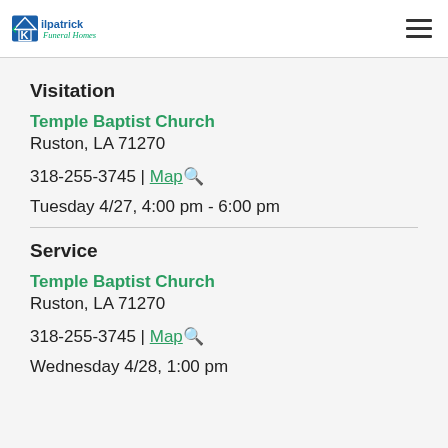Kilpatrick Funeral Homes
Visitation
Temple Baptist Church
Ruston, LA 71270
318-255-3745 | Map
Tuesday 4/27, 4:00 pm - 6:00 pm
Service
Temple Baptist Church
Ruston, LA 71270
318-255-3745 | Map
Wednesday 4/28, 1:00 pm